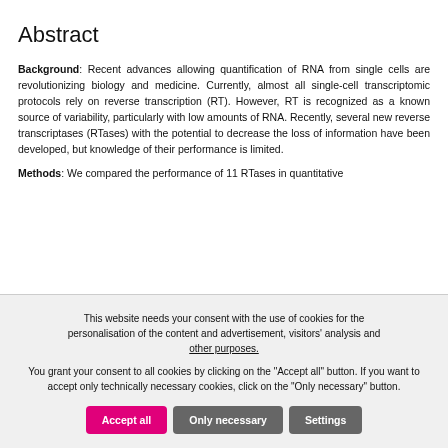Abstract
Background: Recent advances allowing quantification of RNA from single cells are revolutionizing biology and medicine. Currently, almost all single-cell transcriptomic protocols rely on reverse transcription (RT). However, RT is recognized as a known source of variability, particularly with low amounts of RNA. Recently, several new reverse transcriptases (RTases) with the potential to decrease the loss of information have been developed, but knowledge of their performance is limited.
Methods: We compared the performance of 11 RTases in quantitative
This website needs your consent with the use of cookies for the personalisation of the content and advertisement, visitors' analysis and other purposes.
You grant your consent to all cookies by clicking on the "Accept all" button. If you want to accept only technically necessary cookies, click on the "Only necessary" button.